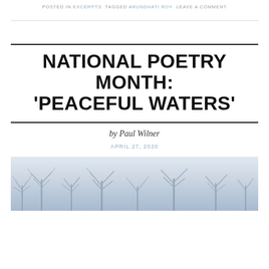POSTED IN EXCERPTS  TAGGED ARUNDHATI ROY  LEAVE A COMMENT
NATIONAL POETRY MONTH: 'PEACEFUL WATERS'
by Paul Wilner
APRIL 27, 2020
[Figure (photo): A wintry landscape with bare trees silhouetted against a pale blue-grey sky]